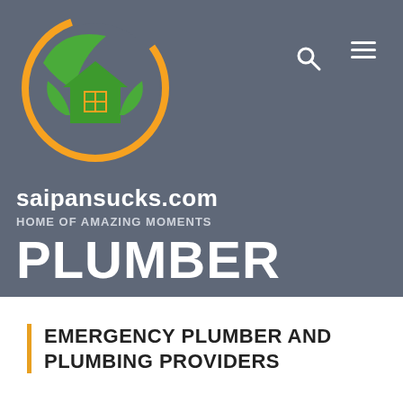[Figure (logo): Circular logo with orange crescent arc, green house silhouette with orange window, and green leaves. Website logo for saipansucks.com.]
saipansucks.com
HOME OF AMAZING MOMENTS
PLUMBER
EMERGENCY PLUMBER AND PLUMBING PROVIDERS